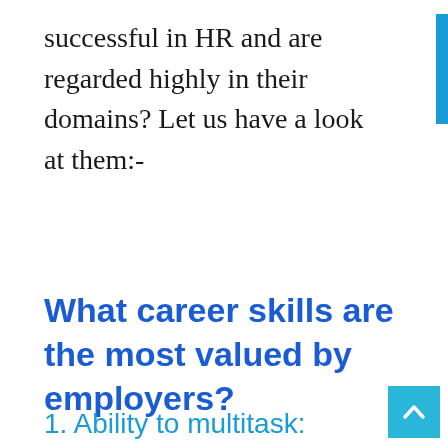successful in HR and are regarded highly in their domains? Let us have a look at them:-
What career skills are the most valued by employers?
1. Ability to multitask: